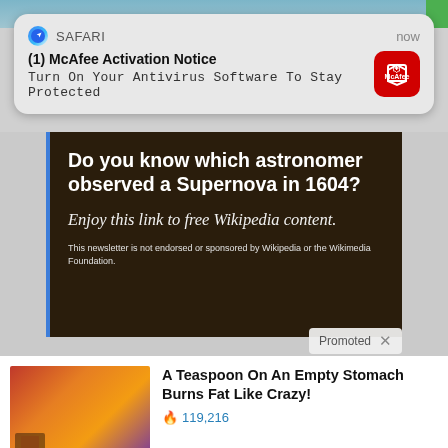[Figure (screenshot): Safari push notification popup for McAfee Activation Notice over a screenshot of a web page with a Wikipedia ad and clickbait content feed]
(1) McAfee Activation Notice
Turn On Your Antivirus Software To Stay Protected
Do you know which astronomer observed a Supernova in 1604?
Enjoy this link to free Wikipedia content.
This newsletter is not endorsed or sponsored by Wikipedia or the Wikimedia Foundation.
Promoted
A Teaspoon On An Empty Stomach Burns Fat Like Crazy!
119,216
Top Democrats Fear This Video Getting Out — Watch Now Before It's Banned
220,322